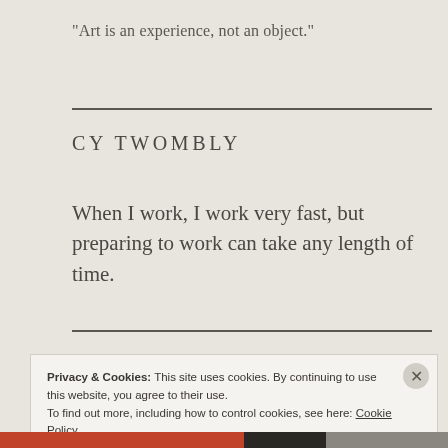"Art is an experience, not an object."
CY TWOMBLY
When I work, I work very fast, but preparing to work can take any length of time.
Privacy & Cookies: This site uses cookies. By continuing to use this website, you agree to their use.
To find out more, including how to control cookies, see here: Cookie Policy
Close and accept